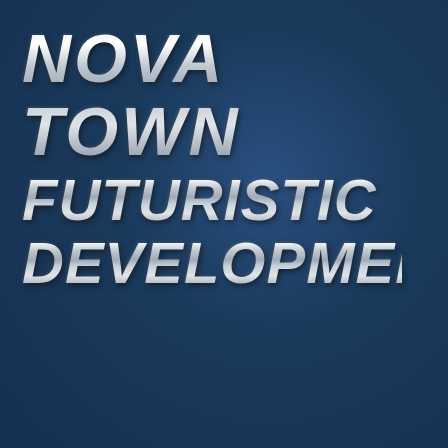[Figure (logo): Dark navy blue background with large metallic chrome-effect bold italic text reading 'NOVA TOWN FUTURISTIC DEVELOPMENT' in three lines, positioned in the upper-left area of the image.]